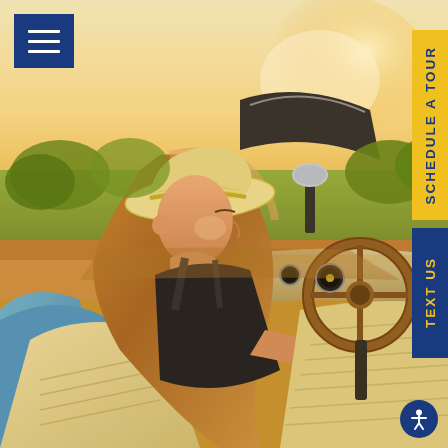[Figure (photo): Woman wearing a straw hat sitting in a vintage blue convertible car, viewed from behind/side, golden sunset lighting, green vegetation and blue sky in background, cream/beige interior seats and wooden steering wheel visible]
[Figure (other): Navy blue square button with three horizontal white lines (hamburger menu icon) in top-left corner]
SCHEDULE A TOUR
TEXT US
[Figure (other): Accessibility icon - white human figure with outstretched arms on dark blue circular button in bottom right corner]